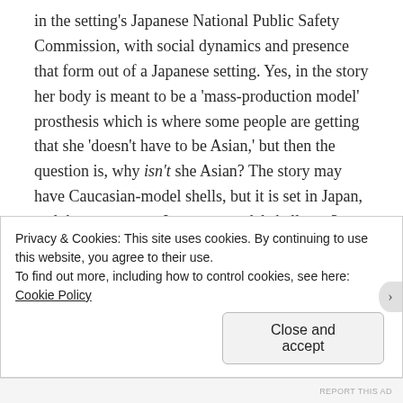in the setting's Japanese National Public Safety Commission, with social dynamics and presence that form out of a Japanese setting. Yes, in the story her body is meant to be a 'mass-production model' prosthesis which is where some people are getting that she 'doesn't have to be Asian,' but then the question is, why isn't she Asian? The story may have Caucasian-model shells, but it is set in Japan, and there are many Japanese-model shells too?
The fact of the matter is, the race of the shell in the original is ultimately irrelevant. There is no clear answer in the manga, and it's proven that white people
Privacy & Cookies: This site uses cookies. By continuing to use this website, you agree to their use.
To find out more, including how to control cookies, see here: Cookie Policy
Close and accept